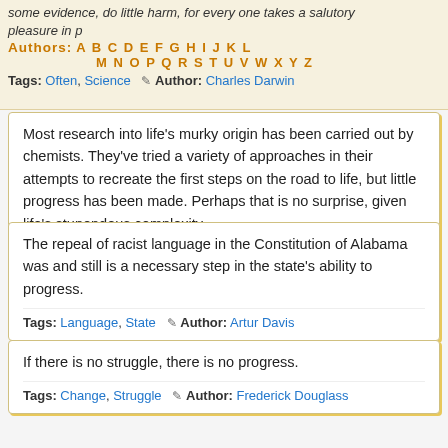some evidence, do little harm, for every one takes a salutory pleasure in proving their falseness.
Authors: A B C D E F G H I J K L M N O P Q R S T U V W X Y Z
Tags: Often, Science  ✎ Author: Charles Darwin
Most research into life's murky origin has been carried out by chemists. They've tried a variety of approaches in their attempts to recreate the first steps on the road to life, but little progress has been made. Perhaps that is no surprise, given life's stupendous complexity.
Tags: Life, Road  ✎ Author: Paul Davies
The repeal of racist language in the Constitution of Alabama was and still is a necessary step in the state's ability to progress.
Tags: Language, State  ✎ Author: Artur Davis
If there is no struggle, there is no progress.
Tags: Change, Struggle  ✎ Author: Frederick Douglass